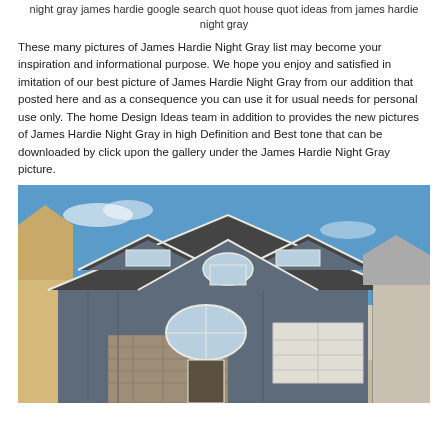night gray james hardie google search quot house quot ideas from james hardie night gray
These many pictures of James Hardie Night Gray list may become your inspiration and informational purpose. We hope you enjoy and satisfied in imitation of our best picture of James Hardie Night Gray from our addition that posted here and as a consequence you can use it for usual needs for personal use only. The home Design Ideas team in addition to provides the new pictures of James Hardie Night Gray in high Definition and Best tone that can be downloaded by click upon the gallery under the James Hardie Night Gray picture.
[Figure (photo): A large two-story house with dark blue-gray James Hardie siding, steep gabled rooflines with dark shingles, white trim, arched windows, stone veneer accents on the lower level, and a white garage door. The house is photographed under a blue sky.]